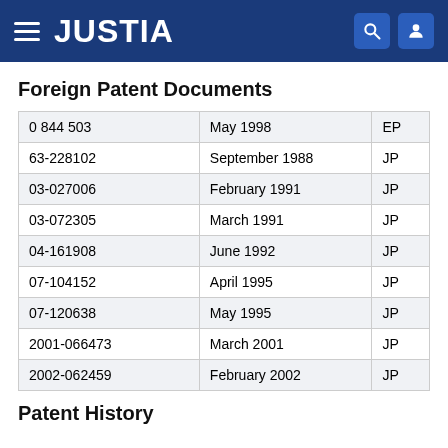JUSTIA
Foreign Patent Documents
|  |  |  |
| --- | --- | --- |
| 0 844 503 | May 1998 | EP |
| 63-228102 | September 1988 | JP |
| 03-027006 | February 1991 | JP |
| 03-072305 | March 1991 | JP |
| 04-161908 | June 1992 | JP |
| 07-104152 | April 1995 | JP |
| 07-120638 | May 1995 | JP |
| 2001-066473 | March 2001 | JP |
| 2002-062459 | February 2002 | JP |
Patent History